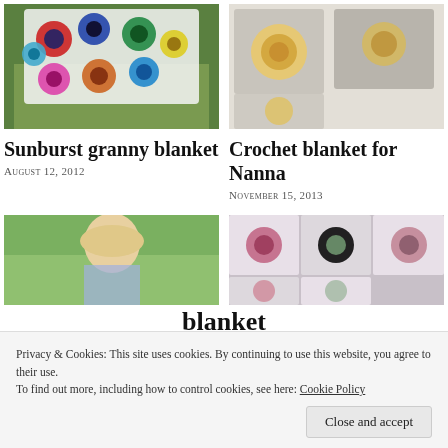[Figure (photo): Colorful sunburst granny square crochet blanket draped over a wooden stool on grass]
[Figure (photo): Grey and yellow crochet blanket with large flower squares on a white surface]
Sunburst granny blanket
August 12, 2012
Crochet blanket for Nanna
November 15, 2013
[Figure (photo): Young blonde girl looking down outdoors in garden]
[Figure (photo): Pink and purple granny square crochet blanket on grass]
Privacy & Cookies: This site uses cookies. By continuing to use this website, you agree to their use.
To find out more, including how to control cookies, see here: Cookie Policy
blanket